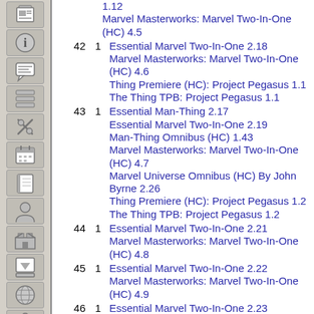1.12 Marvel Masterworks: Marvel Two-In-One (HC) 4.5
42 1 Essential Marvel Two-In-One 2.18 Marvel Masterworks: Marvel Two-In-One (HC) 4.6 Thing Premiere (HC): Project Pegasus 1.1 The Thing TPB: Project Pegasus 1.1
43 1 Essential Man-Thing 2.17 Essential Marvel Two-In-One 2.19 Man-Thing Omnibus (HC) 1.43 Marvel Masterworks: Marvel Two-In-One (HC) 4.7 Marvel Universe Omnibus (HC) By John Byrne 2.26 Thing Premiere (HC): Project Pegasus 1.2 The Thing TPB: Project Pegasus 1.2
44 1 Essential Marvel Two-In-One 2.21 Marvel Masterworks: Marvel Two-In-One (HC) 4.8
45 1 Essential Marvel Two-In-One 2.22 Marvel Masterworks: Marvel Two-In-One (HC) 4.9
46 1 Essential Marvel Two-In-One 2.23 Marvel Masterworks: Marvel Two-In-One (HC) 4.10
47 1 Essential Marvel Two-In-One 2.24 Marvel Masterworks: Marvel Two-In-One (HC)